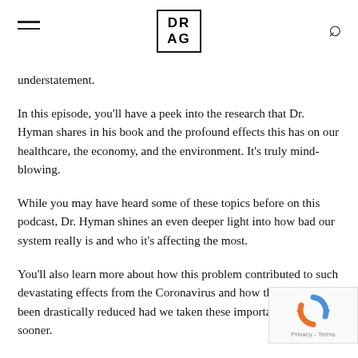DR AG
understatement.
In this episode, you'll have a peek into the research that Dr. Hyman shares in his book and the profound effects this has on our healthcare, the economy, and the environment. It's truly mind-blowing.
While you may have heard some of these topics before on this podcast, Dr. Hyman shines an even deeper light into how bad our system really is and who it's affecting the most.
You'll also learn more about how this problem contributed to such devastating effects from the Coronavirus and how this could have been drastically reduced had we taken these important steps sooner.